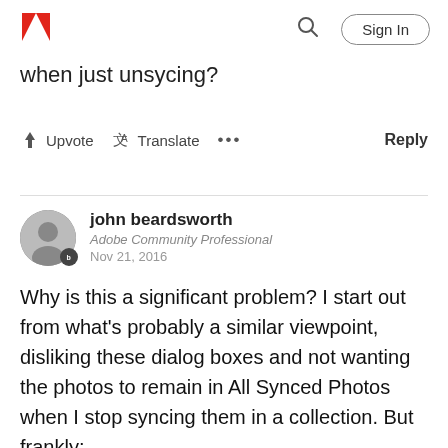Adobe | Sign In
when just unsycing?
Upvote  Translate  ...  Reply
john beardsworth
Adobe Community Professional
Nov 21, 2016
Why is this a significant problem? I start out from what's probably a similar viewpoint, disliking these dialog boxes and not wanting the photos to remain in All Synced Photos when I stop syncing them in a collection. But frankly:
Why should I care if Adobe use web storage